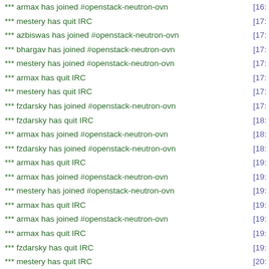*** armax has joined #openstack-neutron-ovn  [16:
*** mestery has quit IRC  [17:
*** azbiswas has joined #openstack-neutron-ovn  [17:
*** bhargav has joined #openstack-neutron-ovn  [17:
*** mestery has joined #openstack-neutron-ovn  [17:
*** armax has quit IRC  [17:
*** mestery has quit IRC  [17:
*** fzdarsky has joined #openstack-neutron-ovn  [17:
*** fzdarsky has quit IRC  [18:
*** armax has joined #openstack-neutron-ovn  [18:
*** fzdarsky has joined #openstack-neutron-ovn  [18:
*** armax has quit IRC  [19:
*** armax has joined #openstack-neutron-ovn  [19:
*** mestery has joined #openstack-neutron-ovn  [19:
*** armax has quit IRC  [19:
*** armax has joined #openstack-neutron-ovn  [19:
*** armax has quit IRC  [19:
*** fzdarsky has quit IRC  [19:
*** mestery has quit IRC  [20:
openstackgerrit  Merged openstack/networking-ovn: Note that we'll use "allow-related" for security groups.  https://review.openstack.org/203851  [20:2
*** salv-orlando has joined #openstack-neutron-ovn  [20: